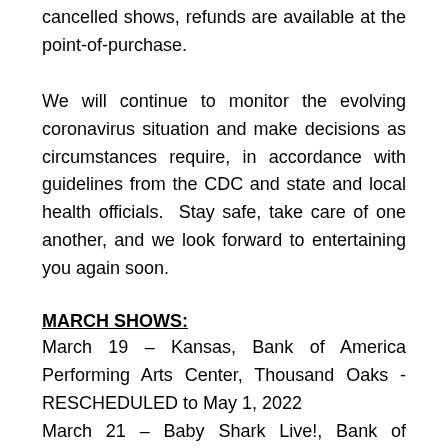cancelled shows, refunds are available at the point-of-purchase.
We will continue to monitor the evolving coronavirus situation and make decisions as circumstances require, in accordance with guidelines from the CDC and state and local health officials.  Stay safe, take care of one another, and we look forward to entertaining you again soon.
MARCH SHOWS:
March 19 – Kansas, Bank of America Performing Arts Center, Thousand Oaks -RESCHEDULED to May 1, 2022
March 21 – Baby Shark Live!, Bank of America